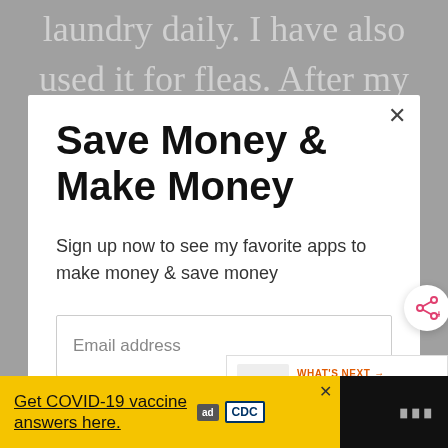laundry daily. I have also used it for fleas. After my
Save Money & Make Money
Sign up now to see my favorite apps to make money & save money
Email address
Get It Now
WHAT'S NEXT → Home Depot Penny Items...
Get COVID-19 vaccine answers here.